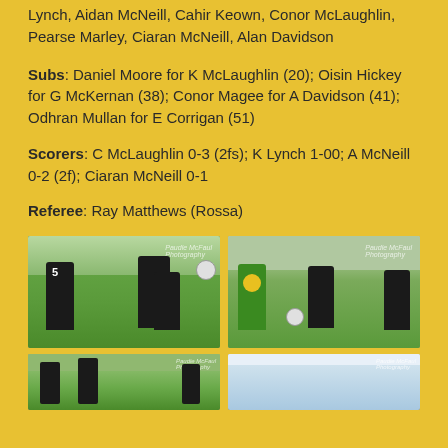Lynch, Aidan McNeill, Cahir Keown, Conor McLaughlin, Pearse Marley, Ciaran McNeill, Alan Davidson
Subs: Daniel Moore for K McLaughlin (20); Oisin Hickey for G McKernan (38); Conor Magee for A Davidson (41); Odhran Mullan for E Corrigan (51)
Scorers: C McLaughlin 0-3 (2fs); K Lynch 1-00; A McNeill 0-2 (2f); Ciaran McNeill 0-1
Referee: Ray Matthews (Rossa)
[Figure (photo): Two football players in black and white jerseys on a grass pitch, one player kicking a ball]
[Figure (photo): Players in black/white and green/yellow jerseys competing on a grass pitch]
[Figure (photo): Football players on pitch, partial view]
[Figure (photo): Indoor or stadium scene, partial view]